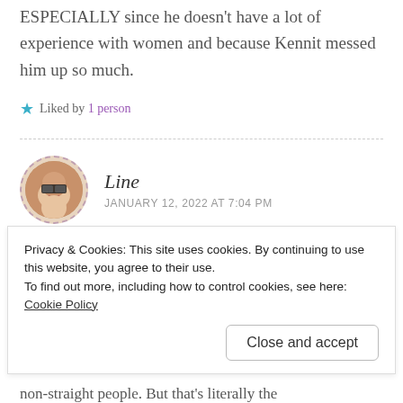ESPECIALLY since he doesn't have a lot of experience with women and because Kennit messed him up so much.
Liked by 1 person
Line
JANUARY 12, 2022 AT 7:04 PM
I'm right there with you wanting Starling to be
Privacy & Cookies: This site uses cookies. By continuing to use this website, you agree to their use. To find out more, including how to control cookies, see here: Cookie Policy
Close and accept
non-straight people. But that's literally the